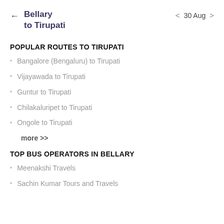← Bellary to Tirupati   < 30 Aug >
POPULAR ROUTES TO TIRUPATI
Bangalore (Bengaluru) to Tirupati
Vijayawada to Tirupati
Guntur to Tirupati
Chilakaluripet to Tirupati
Ongole to Tirupati
more >>
TOP BUS OPERATORS IN BELLARY
Meenakshi Travels
Sachin Kumar Tours and Travels